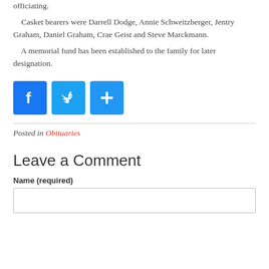officiating.
    Casket bearers were Darrell Dodge, Annie Schweitzberger, Jentry Graham, Daniel Graham, Crae Geist and Steve Marckmann.
    A memorial fund has been established to the family for later designation.
[Figure (infographic): Three social media share buttons: Facebook (blue f icon), Twitter (light blue bird icon), and a blue plus/add icon.]
Posted in Obituaries
Leave a Comment
Name (required)